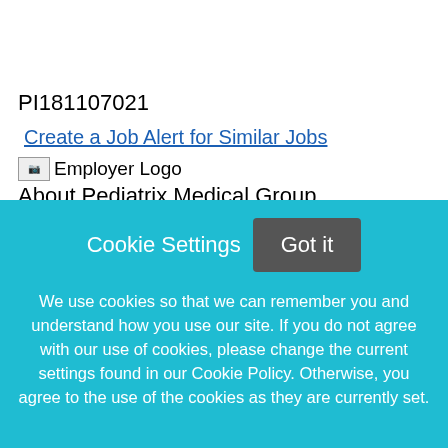PI181107021
Create a Job Alert for Similar Jobs
[Figure (logo): Employer Logo placeholder image]
About Pediatrix Medical Group
Pediatrix Medical Group offers competitive salaries and excellent benefits including health (choice of two PPO options), life, vision, dental and disability insurance; 401(k); annual CME/CNE allowance; relocation assistance; employee stock purchase plan;
Cookie Settings
Got it
We use cookies so that we can remember you and understand how you use our site. If you do not agree with our use of cookies, please change the current settings found in our Cookie Policy. Otherwise, you agree to the use of the cookies as they are currently set.